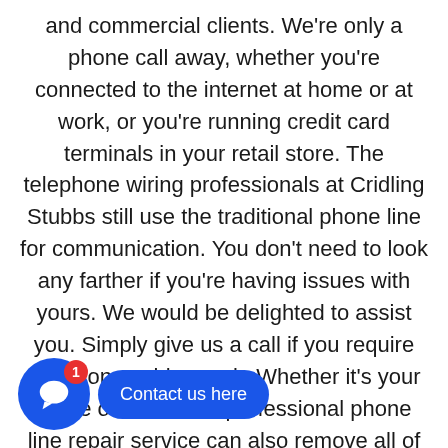and commercial clients. We're only a phone call away, whether you're connected to the internet at home or at work, or you're running credit card terminals in your retail store. The telephone wiring professionals at Cridling Stubbs still use the traditional phone line for communication. You don't need to look any farther if you're having issues with yours. We would be delighted to assist you. Simply give us a call if you require telephone cable repair. Whether it's your home or office, our professional phone line repair service can also remove all of your old wiring and update it with new cabling.
[Figure (other): Blue circular chat widget button with a speech bubble icon and a red badge showing '1', next to a blue rounded rectangle button labeled 'Contact us here'.]